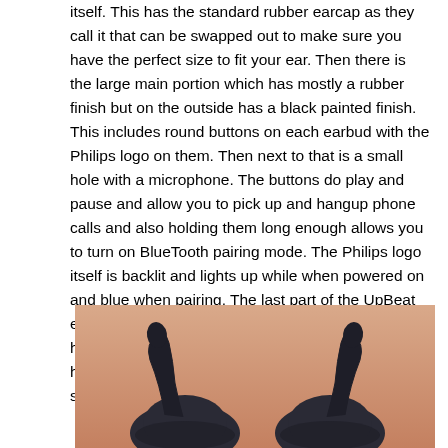itself. This has the standard rubber earcap as they call it that can be swapped out to make sure you have the perfect size to fit your ear. Then there is the large main portion which has mostly a rubber finish but on the outside has a black painted finish. This includes round buttons on each earbud with the Philips logo on them. Then next to that is a small hole with a microphone. The buttons do play and pause and allow you to pick up and hangup phone calls and also holding them long enough allows you to turn on BlueTooth pairing mode. The Philips logo itself is backlit and lights up while when powered on and blue when pairing. The last part of the UpBeat earbud is the rubber antenna looking part. This hooks up into your Concha Cymba (don't worry I had to look it up as well) and gives the UpBeat a second part that keeps it in your ear.
[Figure (photo): Photo of two Philips UpBeat earbuds showing the rubber antenna looking parts sticking up, against a warm orange/peach background.]